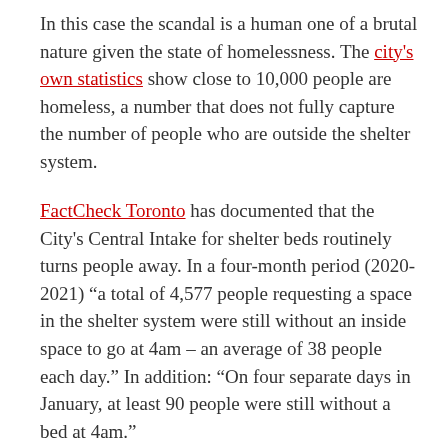In this case the scandal is a human one of a brutal nature given the state of homelessness. The city's own statistics show close to 10,000 people are homeless, a number that does not fully capture the number of people who are outside the shelter system.
FactCheck Toronto has documented that the City's Central Intake for shelter beds routinely turns people away. In a four-month period (2020-2021) "a total of 4,577 people requesting a space in the shelter system were still without an inside space to go at 4am – an average of 38 people each day." In addition: "On four separate days in January, at least 90 people were still without a bed at 4am."